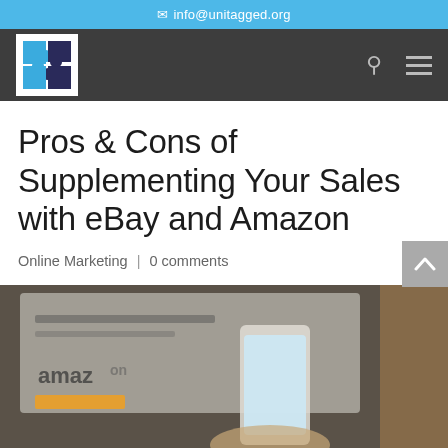✉ info@unitagged.org
[Figure (logo): Unitagged.org logo: puzzle piece shaped globe icon in blue and dark colors on white background]
Pros & Cons of Supplementing Your Sales with eBay and Amazon
Online Marketing | 0 comments
[Figure (photo): Person holding a smartphone showing Amazon app, with a laptop in background displaying Amazon website, blurred background]